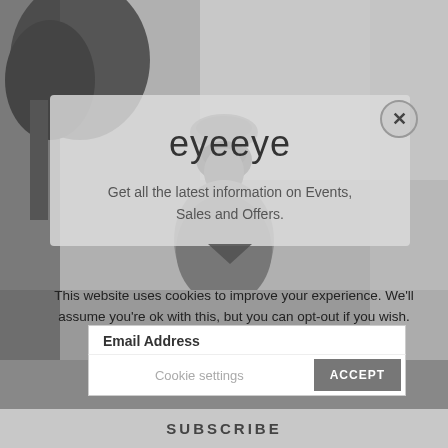[Figure (photo): Black and white photograph of a person with something balanced on their head, outdoors with trees in the background]
eyeeye
Get all the latest information on Events, Sales and Offers.
This website uses cookies to improve your experience. We'll assume you're ok with this, but you can opt-out if you wish.
Email Address
Cookie settings
ACCEPT
SUBSCRIBE